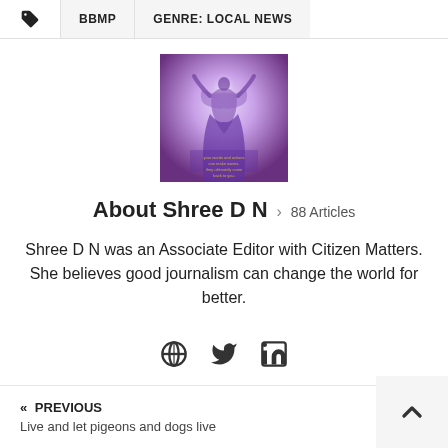BBMP  GENRE: LOCAL NEWS
[Figure (photo): Square illustration with purple/violet gradient background, a figure with raised arms and light radiating from above, with small text overlaid at the bottom]
About Shree D N > 88 Articles
Shree D N was an Associate Editor with Citizen Matters. She believes good journalism can change the world for better.
[Figure (infographic): Social media icons: globe/website icon, Twitter bird icon, LinkedIn 'in' icon]
« PREVIOUS  Live and let pigeons and dogs live